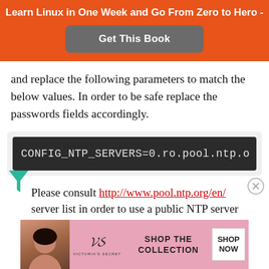Learn Linux in One Week and Go From Zero to Hero -
[Figure (other): Get This Book button on orange banner]
and replace the following parameters to match the below values. In order to be safe replace the passwords fields accordingly.
[Figure (screenshot): Code block showing: CONFIG_NTP_SERVERS=0.ro.pool.ntp.o]
Please consult http://www.pool.ntp.org/en/ server list in order to use a public NTP server near your
[Figure (photo): Victoria's Secret advertisement banner: SHOP THE COLLECTION - SHOP NOW]